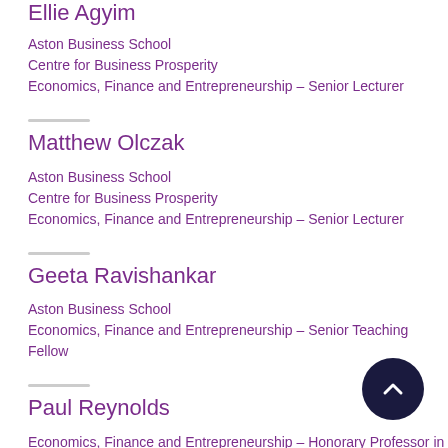Ellie Agyim
Aston Business School
Centre for Business Prosperity
Economics, Finance and Entrepreneurship - Senior Lecturer
Matthew Olczak
Aston Business School
Centre for Business Prosperity
Economics, Finance and Entrepreneurship - Senior Lecturer
Geeta Ravishankar
Aston Business School
Economics, Finance and Entrepreneurship - Senior Teaching Fellow
Paul Reynolds
Economics, Finance and Entrepreneurship - Honorary Professor in Entrepreneurship